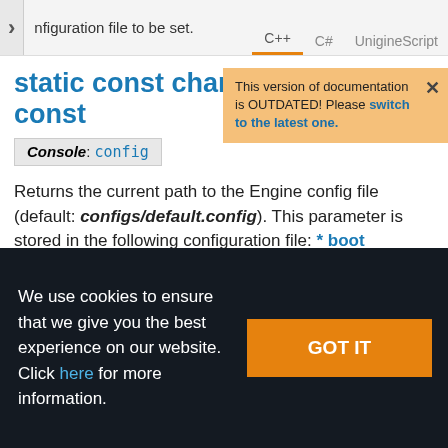nfiguration file to be set.  C++  C#  UnigineScript
static const char * getPath ( ) const
Console: config
This version of documentation is OUTDATED! Please switch to the latest one.
Returns the current path to the Engine config file (default: configs/default.config). This parameter is stored in the following configuration file: * boot
We use cookies to ensure that we give you the best experience on our website. Click here for more information.